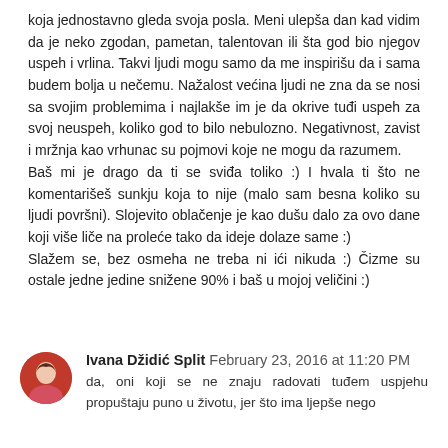koja jednostavno gleda svoja posla. Meni ulepša dan kad vidim da je neko zgodan, pametan, talentovan ili šta god bio njegov uspeh i vrlina. Takvi ljudi mogu samo da me inspirišu da i sama budem bolja u nečemu. Nažalost većina ljudi ne zna da se nosi sa svojim problemima i najlakše im je da okrive tuđi uspeh za svoj neuspeh, koliko god to bilo nebulozno. Negativnost, zavist i mržnja kao vrhunac su pojmovi koje ne mogu da razumem.
Baš mi je drago da ti se sviđa toliko :) I hvala ti što ne komentarišeš sunkju koja to nije (malo sam besna koliko su ljudi površni). Slojevito oblačenje je kao dušu dalo za ovo dane koji više liče na proleće tako da ideje dolaze same :)
Slažem se, bez osmeha ne treba ni ići nikuda :) Čizme su ostale jedne jedine snižene 90% i baš u mojoj veličini :)
Ivana Džidić Split  February 23, 2016 at 11:20 PM
da, oni koji se ne znaju radovati tuđem uspjehu propuštaju puno u životu, jer što ima ljepše nego